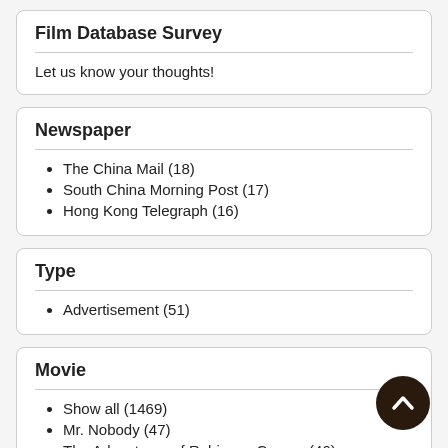Film Database Survey
Let us know your thoughts!
Newspaper
The China Mail (18)
South China Morning Post (17)
Hong Kong Telegraph (16)
Type
Advertisement (51)
Movie
Show all (1469)
Mr. Nobody (47)
The Adventures of Robinson Crusoe (46)
Koenigsmark (41)
Safety Last! (39)